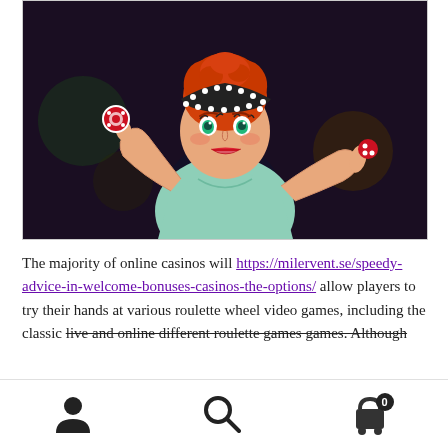[Figure (illustration): Cartoon pin-up style illustration of a redheaded woman with a polka-dot headband, wearing a green top, holding a casino chip in one hand and a red game piece in the other, against a dark blurred background.]
The majority of online casinos will https://milervent.se/speedy-advice-in-welcome-bonuses-casinos-the-options/ allow players to try their hands at various roulette wheel video games, including the classic live and online different roulette games games. Although
User icon, Search icon, Cart icon with badge 0